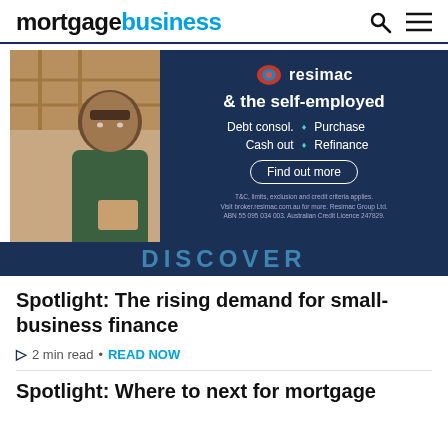mortgagebusiness
[Figure (photo): Advertisement banner for Resimac showing a middle-aged man in a green polo shirt holding a tablet, with dark navy background on right side showing Resimac logo, tagline '& the self-employed', features Debt consol., Purchase, Cash out, Refinance, a 'Find out more' button, and disclaimer text. Bottom shows 'DISCOVER' text.]
Spotlight: The rising demand for small-business finance
2 min read • READ NOW
Spotlight: Where to next for mortgage